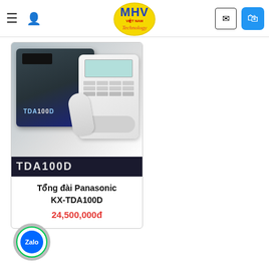MHV Việt Nam Technology — navigation header with logo, menu, user, mail, and cart icons
[Figure (photo): Product photo of Panasonic KX-TDA100D PBX telephone exchange system — a large dark blue/navy box unit alongside a white multi-line desk phone with LCD display. Below the photo is a dark banner showing the text TDA100D in large stylized letters.]
Tổng đài Panasonic KX-TDA100D
24,500,000đ
[Figure (logo): Zalo app circular button icon — blue circle with 'Zalo' text in white, surrounded by green ring on grey background]